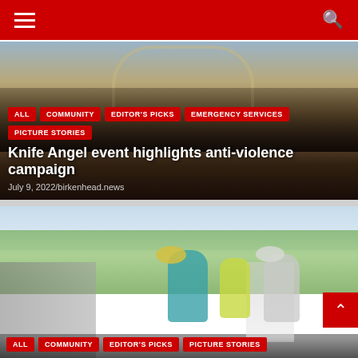Navigation header with hamburger menu and search icon
[Figure (photo): Crowd gathered in front of a stone archway building, with the Knife Angel sculpture visible in the background]
ALL
COMMUNITY
EDITOR'S PICKS
EMERGENCY SERVICES
PICTURE STORIES
Knife Angel event highlights anti-violence campaign
July 9, 2022/birkenhead.news
[Figure (photo): Group of cyclists riding on a road, one wearing a teal jacket and yellow helmet, another in a high-vis jacket, and a third in a grey cycling jersey]
ALL
COMMUNITY
EDITOR'S PICKS
PICTURE STORIES